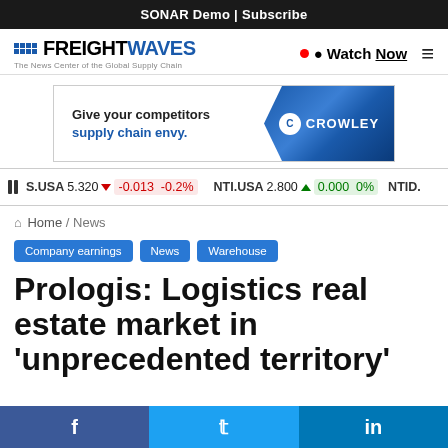SONAR Demo | Subscribe
[Figure (logo): FreightWaves logo — The News Center of the Global Supply Chain]
[Figure (infographic): Crowley advertisement: Give your competitors supply chain envy. Crowley logo on blue background.]
S.USA 5.320 ▼ -0.013 -0.2% | NTI.USA 2.800 ▲ 0.000 0% | NTID.
Home / News
Company earnings
News
Warehouse
Prologis: Logistics real estate market in 'unprecedented territory'
Facebook  Twitter  LinkedIn